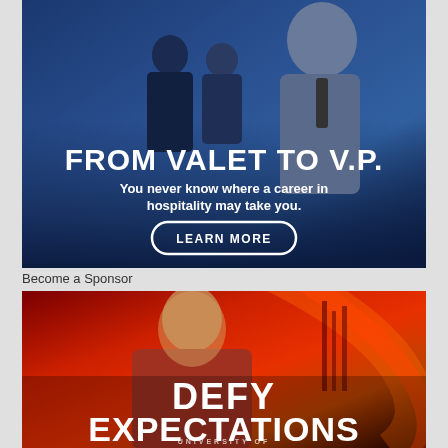[Figure (photo): Advertisement banner: professional man in suit smiling with colleagues in background, text overlaid: FROM VALET TO V.P. / You never know where a career in hospitality may take you. / LEARN MORE button]
Become a Sponsor
[Figure (photo): University advertisement: young woman wearing hijab in red/orange fiery background, text overlaid: DEFY EXPECTATIONS / UNIVERSITY OF...]